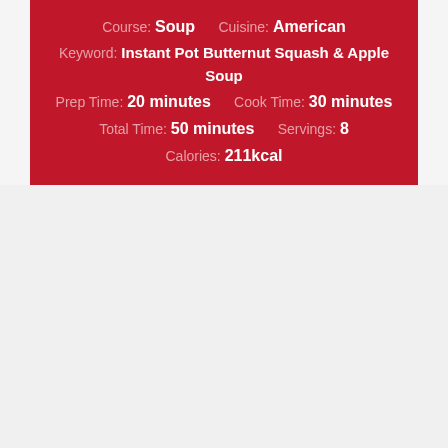Course: Soup   Cuisine: American
Keyword: Instant Pot Butternut Squash & Apple Soup
Prep Time: 20 minutes   Cook Time: 30 minutes
Total Time: 50 minutes   Servings: 8
Calories: 211kcal
Ingredients
1 medium onion, sweet